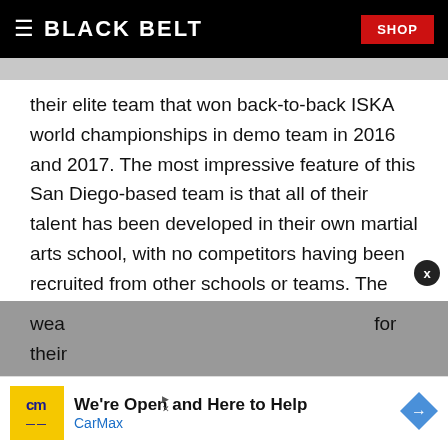BLACK BELT | SHOP
their elite team that won back-to-back ISKA world championships in demo team in 2016 and 2017. The most impressive feature of this San Diego-based team is that all of their talent has been developed in their own martial arts school, with no competitors having been recruited from other schools or teams. The Team Freestyle roster currently features only junior competitors, but their consistent presence in the forms and wea[pons divisions is a testament] for their [school's training program]
[Figure (other): CarMax advertisement banner: 'We're Open and Here to Help / CarMax' with yellow CM logo and blue navigation arrow icon]